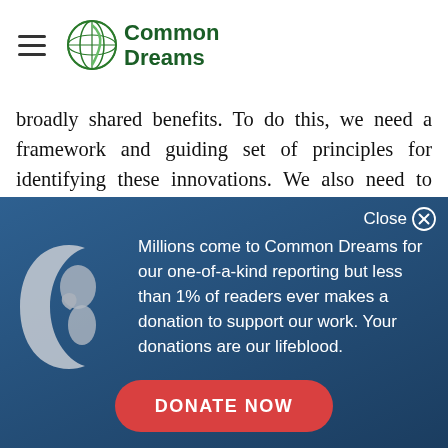Common Dreams
broadly shared benefits. To do this, we need a framework and guiding set of principles for identifying these innovations. We also need to design the mechanisms for channeling capital to these innovations
[Figure (screenshot): Common Dreams donation modal overlay with globe icon, text: Millions come to Common Dreams for our one-of-a-kind reporting but less than 1% of readers ever makes a donation to support our work. Your donations are our lifeblood. With a DONATE NOW button.]